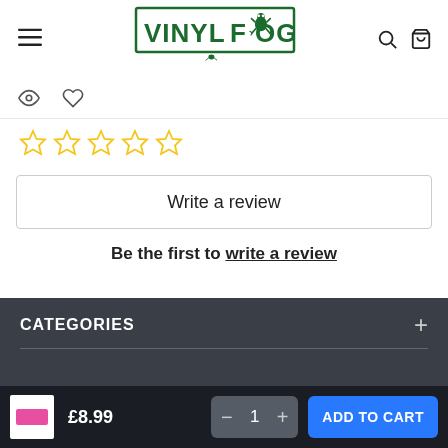VINYL FROG
[Figure (logo): Vinyl Frog green brand logo with frog illustration]
Write a review
Be the first to write a review
CATEGORIES
£8.99  1  ADD TO CART